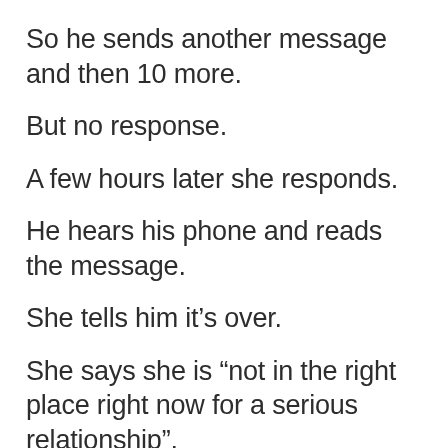So he sends another message and then 10 more.
But no response.
A few hours later she responds.
He hears his phone and reads the message.
She tells him it's over.
She says she is “not in the right place right now for a serious relationship”.